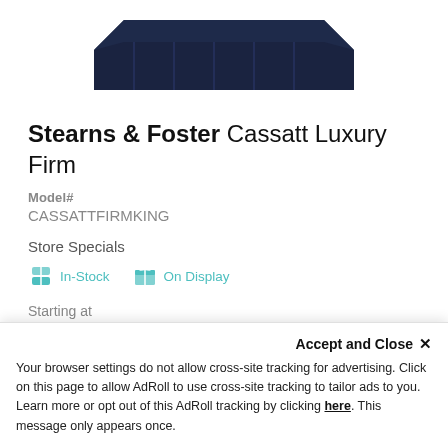[Figure (photo): Partial top view of a dark navy Stearns & Foster Cassatt Luxury Firm mattress shown against white background]
Stearns & Foster Cassatt Luxury Firm
Model#
CASSATTFIRMKING
Store Specials
In-Stock   On Display
Starting at
Accept and Close ×
Your browser settings do not allow cross-site tracking for advertising. Click on this page to allow AdRoll to use cross-site tracking to tailor ads to you. Learn more or opt out of this AdRoll tracking by clicking here. This message only appears once.